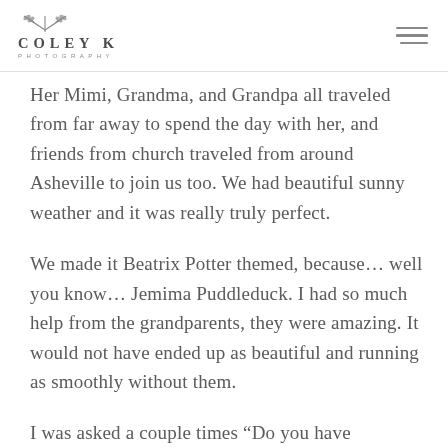COLEY K PHOTOGRAPHY
Her Mimi, Grandma, and Grandpa all traveled from far away to spend the day with her, and friends from church traveled from around Asheville to join us too. We had beautiful sunny weather and it was really truly perfect.
We made it Beatrix Potter themed, because… well you know… Jemima Puddleduck. I had so much help from the grandparents, they were amazing. It would not have ended up as beautiful and running as smoothly without them.
I was asked a couple times “Do you have